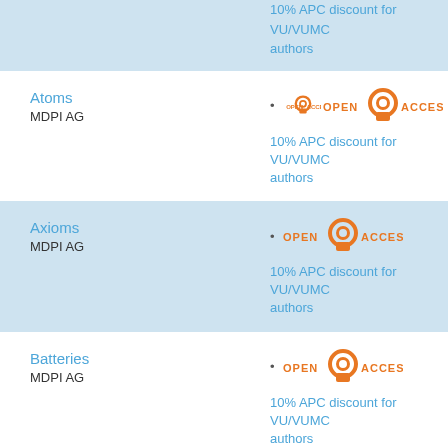10% APC discount for VU/VUMC authors
Atoms
MDPI AG
10% APC discount for VU/VUMC authors
Axioms
MDPI AG
10% APC discount for VU/VUMC authors
Batteries
MDPI AG
10% APC discount for VU/VUMC authors
Behavioral Sciences
MDPI AG